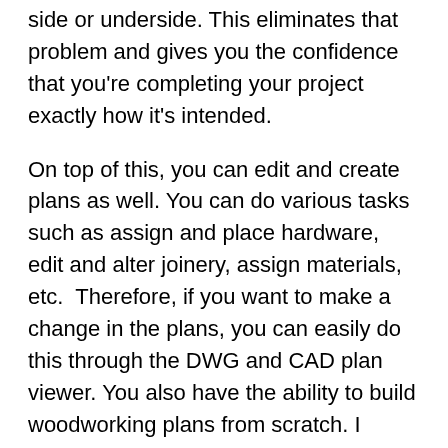side or underside. This eliminates that problem and gives you the confidence that you're completing your project exactly how it's intended.
On top of this, you can edit and create plans as well. You can do various tasks such as assign and place hardware, edit and alter joinery, assign materials, etc.  Therefore, if you want to make a change in the plans, you can easily do this through the DWG and CAD plan viewer. You also have the ability to build woodworking plans from scratch. I personally have no idea how to do this, but it's definitely something worth mentioning. Below is an example of what the DWG plan viewer looks like